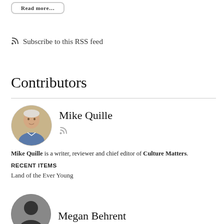Read more...
Subscribe to this RSS feed
Contributors
[Figure (photo): Circular avatar photo of Mike Quille, an older man with white hair wearing a blue shirt, against a brick background]
Mike Quille
Mike Quille is a writer, reviewer and chief editor of Culture Matters.
RECENT ITEMS
Land of the Ever Young
[Figure (illustration): Circular avatar silhouette of Megan Behrent, showing a generic person outline]
Megan Behrent